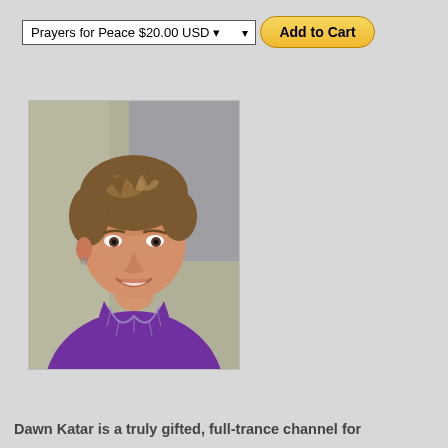Prayers for Peace $20.00 USD
Add to Cart
[Figure (photo): Portrait photo of Dawn Katar, a woman with short brown hair wearing a purple top with a patterned neckline, smiling at the camera]
Dawn Katar is a truly gifted, full-trance channel for